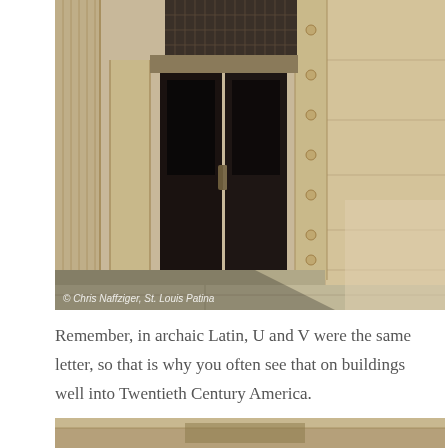[Figure (photo): Photograph of the entrance of a stone building with double doors, decorative metal grille above the entrance, columns on the left, and large stone blocks on the right under bright sunlight. Watermark reads: © Chris Naffziger, St. Louis Patina]
Remember, in archaic Latin, U and V were the same letter, so that is why you often see that on buildings well into Twentieth Century America.
[Figure (photo): Partial view of the bottom of the building, showing stone or concrete surface.]